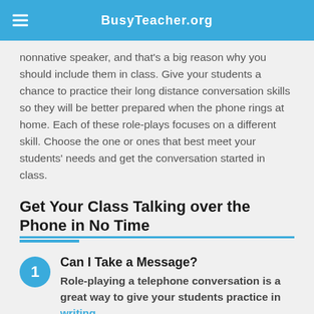BusyTeacher.org
nonnative speaker, and that's a big reason why you should include them in class. Give your students a chance to practice their long distance conversation skills so they will be better prepared when the phone rings at home. Each of these role-plays focuses on a different skill. Choose the one or ones that best meet your students' needs and get the conversation started in class.
Get Your Class Talking over the Phone in No Time
Can I Take a Message?
Role-playing a telephone conversation is a great way to give your students practice in writing